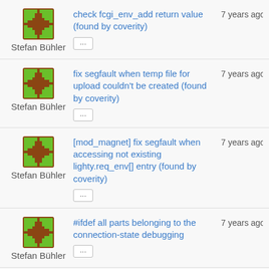Stefan Bühler — check fcgi_env_add return value (found by coverity) — 7 years ago
Stefan Bühler — fix segfault when temp file for upload couldn't be created (found by coverity) — 7 years ago
Stefan Bühler — [mod_magnet] fix segfault when accessing not existing lighty.req_env[] entry (found by coverity) — 7 years ago
Stefan Bühler — #ifdef all parts belonging to the connection-state debugging — 7 years ago
Stefan Bühler — fix ... (partial)